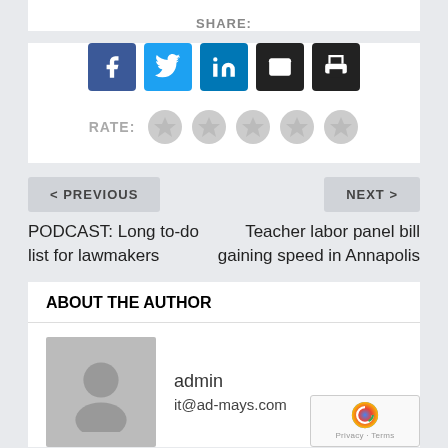SHARE:
[Figure (infographic): Social share buttons: Facebook (blue), Twitter (light blue), LinkedIn (blue), Email (black), Print (black)]
RATE: ☆☆☆☆☆
< PREVIOUS
NEXT >
PODCAST: Long to-do list for lawmakers
Teacher labor panel bill gaining speed in Annapolis
ABOUT THE AUTHOR
[Figure (photo): Generic grey avatar silhouette placeholder image]
admin
it@ad-mays.com